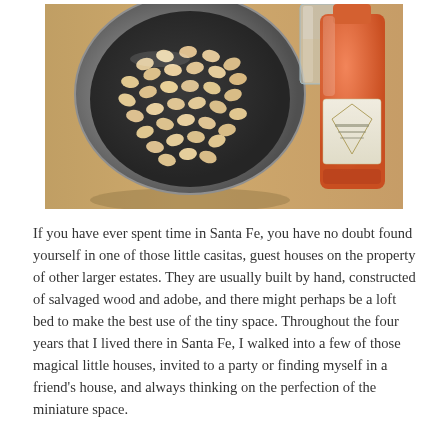[Figure (photo): A metal bowl filled with dried white beans sits on a wooden surface. To the right is an orange bottle with a label, and behind it a clear glass.]
If you have ever spent time in Santa Fe, you have no doubt found yourself in one of those little casitas, guest houses on the property of other larger estates. They are usually built by hand, constructed of salvaged wood and adobe, and there might perhaps be a loft bed to make the best use of the tiny space. Throughout the four years that I lived there in Santa Fe, I walked into a few of those magical little houses, invited to a party or finding myself in a friend's house, and always thinking on the perfection of the miniature space.